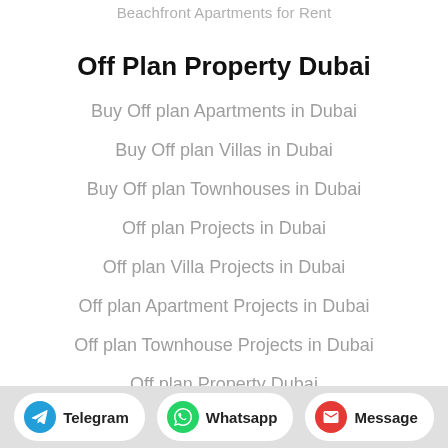Beachfront Apartments for Rent
Off Plan Property Dubai
Buy Off plan Apartments in Dubai
Buy Off plan Villas in Dubai
Buy Off plan Townhouses in Dubai
Off plan Projects in Dubai
Off plan Villa Projects in Dubai
Off plan Apartment Projects in Dubai
Off plan Townhouse Projects in Dubai
Off plan Property Dubai
Telegram  Whatsapp  Message